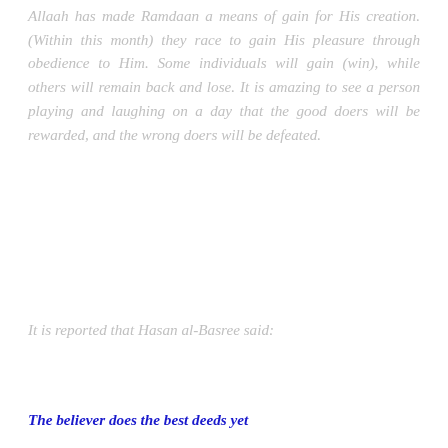Allaah has made Ramdaan a means of gain for His creation. (Within this month) they race to gain His pleasure through obedience to Him. Some individuals will gain (win), while others will remain back and lose. It is amazing to see a person playing and laughing on a day that the good doers will be rewarded, and the wrong doers will be defeated.
It is reported that Hasan al-Basree said:
The believer does the best deeds yet